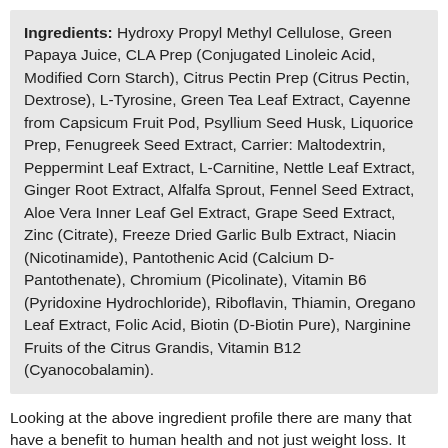Ingredients: Hydroxy Propyl Methyl Cellulose, Green Papaya Juice, CLA Prep (Conjugated Linoleic Acid, Modified Corn Starch), Citrus Pectin Prep (Citrus Pectin, Dextrose), L-Tyrosine, Green Tea Leaf Extract, Cayenne from Capsicum Fruit Pod, Psyllium Seed Husk, Liquorice Prep, Fenugreek Seed Extract, Carrier: Maltodextrin, Peppermint Leaf Extract, L-Carnitine, Nettle Leaf Extract, Ginger Root Extract, Alfalfa Sprout, Fennel Seed Extract, Aloe Vera Inner Leaf Gel Extract, Grape Seed Extract, Zinc (Citrate), Freeze Dried Garlic Bulb Extract, Niacin (Nicotinamide), Pantothenic Acid (Calcium D-Pantothenate), Chromium (Picolinate), Vitamin B6 (Pyridoxine Hydrochloride), Riboflavin, Thiamin, Oregano Leaf Extract, Folic Acid, Biotin (D-Biotin Pure), Narginine Fruits of the Citrus Grandis, Vitamin B12 (Cyanocobalamin).
Looking at the above ingredient profile there are many that have a benefit to human health and not just weight loss. It looks as if the people responsible for creating the formula where given carte blanche and created something that could have been shared between several supplements.